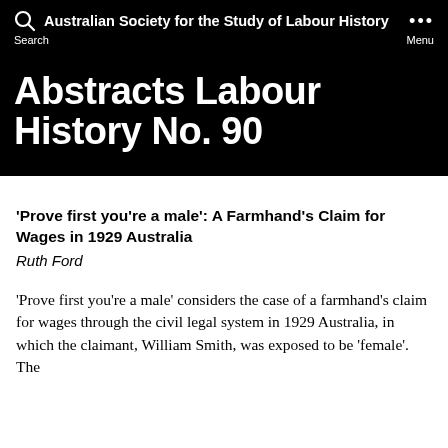Australian Society for the Study of Labour History
Abstracts Labour History No. 90
‘Prove first you’re a male’: A Farmhand’s Claim for Wages in 1929 Australia
Ruth Ford
‘Prove first you’re a male’ considers the case of a farmhand’s claim for wages through the civil legal system in 1929 Australia, in which the claimant, William Smith, was exposed to be ‘female’. The